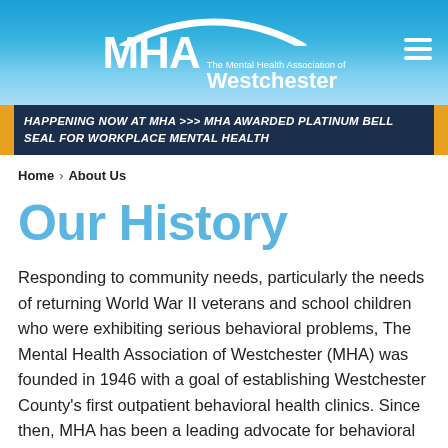[Figure (logo): MHA - The Mental Health Association of Westchester logo with white arc above text on blue gradient background, and hamburger menu icon top right]
HAPPENING NOW AT MHA >>> MHA AWARDED PLATINUM BELL SEAL FOR WORKPLACE MENTAL HEALTH
Home > About Us
Our History
Responding to community needs, particularly the needs of returning World War II veterans and school children who were exhibiting serious behavioral problems, The Mental Health Association of Westchester (MHA) was founded in 1946 with a goal of establishing Westchester County's first outpatient behavioral health clinics. Since then, MHA has been a leading advocate for behavioral health in the community, serving as a front-line resource for children, adults and families experiencing behavioral health conditions.